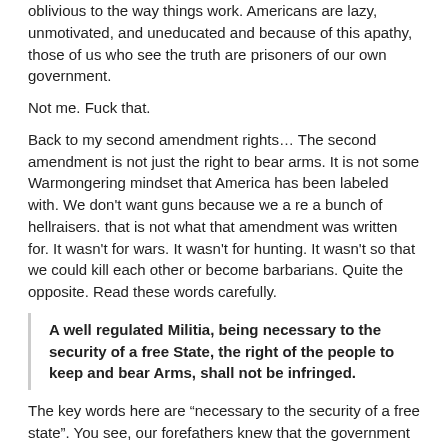oblivious to the way things work. Americans are lazy, unmotivated, and uneducated and because of this apathy, those of us who see the truth are prisoners of our own government.
Not me. Fuck that.
Back to my second amendment rights… The second amendment is not just the right to bear arms. It is not some Warmongering mindset that America has been labeled with. We don't want guns because we a re a bunch of hellraisers. that is not what that amendment was written for. It wasn't for wars. It wasn't for hunting. It wasn't so that we could kill each other or become barbarians. Quite the opposite. Read these words carefully.
A well regulated Militia, being necessary to the security of a free State, the right of the people to keep and bear Arms, shall not be infringed.
The key words here are “necessary to the security of a free state”. You see, our forefathers knew that the government that they were escaping form had repressed them leaving no way to rebel and stand up once things had gotten too far. This amendment was written, and made number 2 on the list, because they realized how